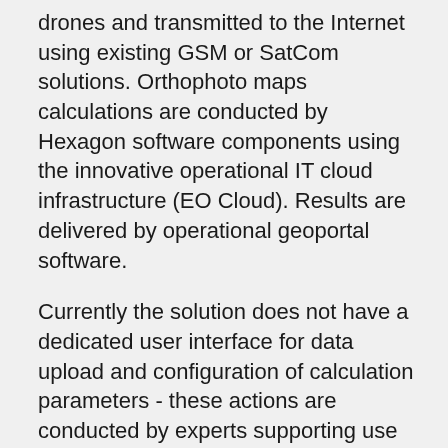drones and transmitted to the Internet using existing GSM or SatCom solutions. Orthophoto maps calculations are conducted by Hexagon software components using the innovative operational IT cloud infrastructure (EO Cloud). Results are delivered by operational geoportal software.
Currently the solution does not have a dedicated user interface for data upload and configuration of calculation parameters - these actions are conducted by experts supporting use of the